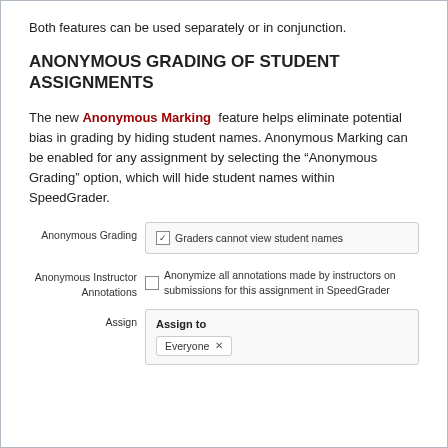Both features can be used separately or in conjunction.
ANONYMOUS GRADING OF STUDENT ASSIGNMENTS
The new Anonymous Marking feature helps eliminate potential bias in grading by hiding student names. Anonymous Marking can be enabled for any assignment by selecting the “Anonymous Grading” option, which will hide student names within SpeedGrader.
[Figure (screenshot): UI mockup showing three assignment settings rows: (1) Anonymous Grading with a checked checkbox 'Graders cannot view student names'; (2) Anonymous Instructor Annotations with an unchecked checkbox 'Anonymize all annotations made by instructors on submissions for this assignment in SpeedGrader'; (3) Assign with an 'Assign to' field containing an 'Everyone x' pill.]